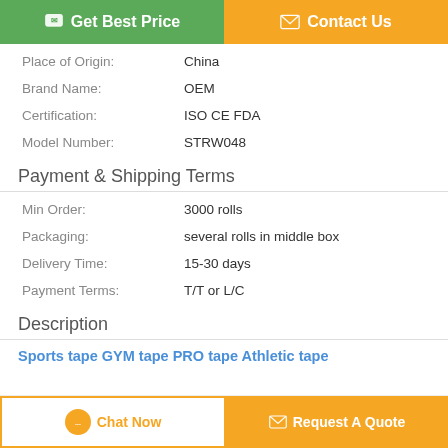[Figure (other): Two buttons: Get Best Price (green) and Contact Us (orange)]
| Place of Origin: | China |
| Brand Name: | OEM |
| Certification: | ISO CE FDA |
| Model Number: | STRW048 |
Payment & Shipping Terms
| Min Order: | 3000 rolls |
| Packaging: | several rolls in middle box |
| Delivery Time: | 15-30 days |
| Payment Terms: | T/T or L/C |
Description
Sports tape GYM tape PRO tape Athletic tape
[Figure (other): Bottom bar with Chat Now button (outlined orange) and Request A Quote button (solid orange)]